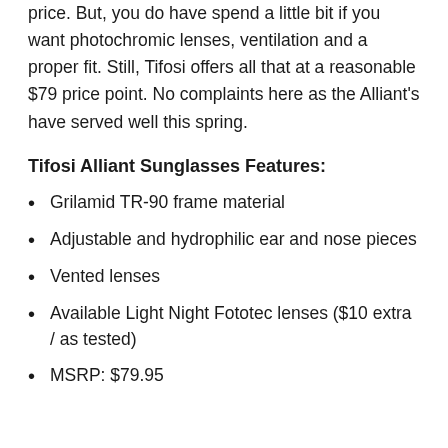price. But, you do have spend a little bit if you want photochromic lenses, ventilation and a proper fit. Still, Tifosi offers all that at a reasonable $79 price point. No complaints here as the Alliant's have served well this spring.
Tifosi Alliant Sunglasses Features:
Grilamid TR-90 frame material
Adjustable and hydrophilic ear and nose pieces
Vented lenses
Available Light Night Fototec lenses ($10 extra / as tested)
MSRP: $79.95